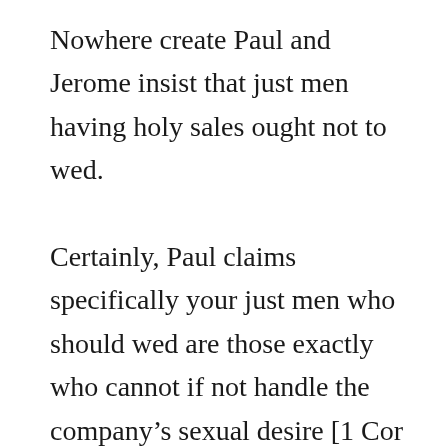Nowhere create Paul and Jerome insist that just men having holy sales ought not to wed.

Certainly, Paul claims specifically your just men who should wed are those exactly who cannot if not handle the company’s sexual desire [1 Cor 7:8-9]. Paul additionally claims [1 Cor 7:1] a€?it is useful for men to not ever look a womana€?. Again, he is doing definitely not declare, a€?a boy owning used holy commandsa€? or some this variation. He only claims a€?a mana€?. What this means is